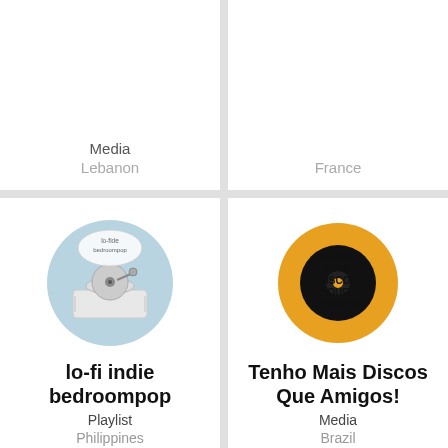Media
Lebanon
France
[Figure (illustration): lo-fi indie bedroompop circular illustration showing a record player on a light blue background]
lo-fi indie bedroompop
Playlist
Philippines
[Figure (logo): Tenho Mais Discos Que Amigos! circular orange logo with vinyl record]
Tenho Mais Discos Que Amigos!
Media
Brazil
[Figure (logo): BIRP! logo with overlapping red and blue circles]
[Figure (logo): The Joy of Violent Movement logo with headphones icon]